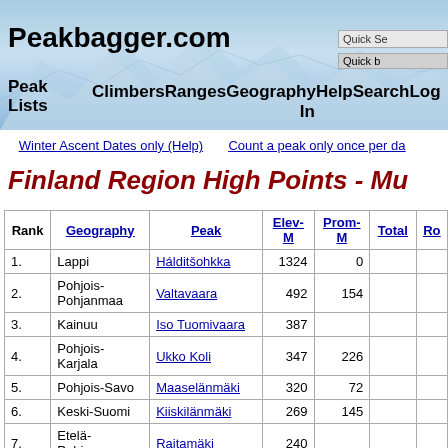Peakbagger.com
Winter Ascent Dates only (Help)   Count a peak only once per da
Finland Region High Points - Mu
| Rank | Geography | Peak | Elev-M | Prom-M | Total | Ro |
| --- | --- | --- | --- | --- | --- | --- |
| 1. | Lappi | Hálditšohkka | 1324 | 0 |  |  |
| 2. | Pohjois-Pohjanmaa | Valtavaara | 492 | 154 |  |  |
| 3. | Kainuu | Iso Tuomivaara | 387 |  |  |  |
| 4. | Pohjois-Karjala | Ukko Koli | 347 | 226 |  |  |
| 5. | Pohjois-Savo | Maaselänmäki | 320 | 72 |  |  |
| 6. | Keski-Suomi | Kiiskilänmäki | 269 | 145 |  |  |
| 7. | Etelä-Pohjanmaa | Raitamäki | 240 |  |  |  |
| 8. | Pirkanmaa | Venäläisvuori | 233 | 62 |  |  |